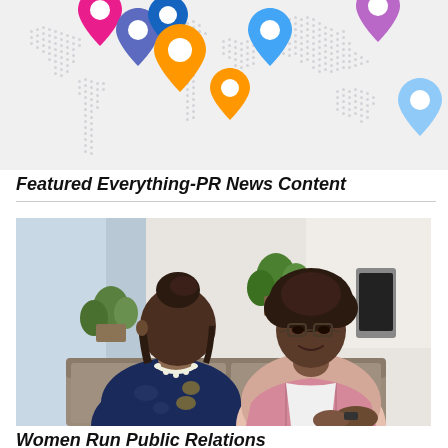[Figure (map): World map with colorful location pin markers in pink, purple, blue, orange colors placed over various regions including Europe, Middle East, Asia, and Southeast Asia.]
Featured Everything-PR News Content
[Figure (photo): Two women sitting on a couch in an office setting having a conversation. One woman has her back to the camera wearing a floral navy top and pearl necklace, and the other woman faces the camera wearing glasses and a pink blazer over a white shirt.]
Women Run Public Relations